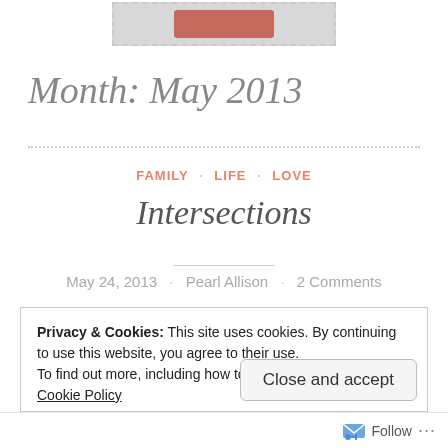[Figure (screenshot): Partial top of page showing a dashed-border gray box with a reddish button element visible at the top of the viewport]
Month: May 2013
FAMILY · LIFE · LOVE
Intersections
May 24, 2013 · Pearl Allison · 2 Comments
Privacy & Cookies: This site uses cookies. By continuing to use this website, you agree to their use.
To find out more, including how to control cookies, see here: Cookie Policy
Close and accept
Follow